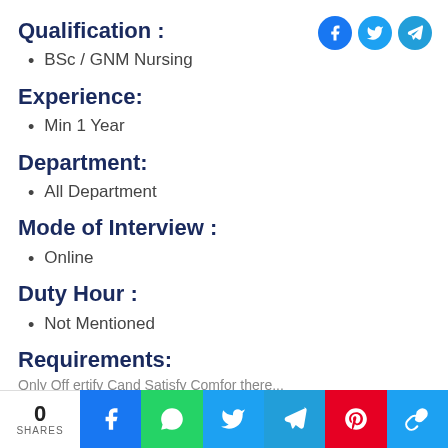Qualification :
BSc / GNM Nursing
Experience:
Min 1 Year
Department:
All Department
Mode of Interview :
Online
Duty Hour :
Not Mentioned
Requirements:
0 SHARES | Share buttons: Facebook, WhatsApp, Twitter, Telegram, Pinterest, Copy